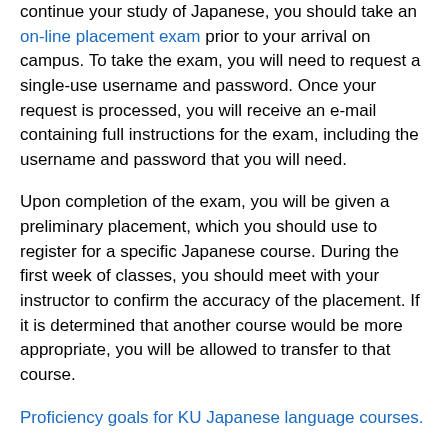continue your study of Japanese, you should take an on-line placement exam prior to your arrival on campus. To take the exam, you will need to request a single-use username and password. Once your request is processed, you will receive an e-mail containing full instructions for the exam, including the username and password that you will need.
Upon completion of the exam, you will be given a preliminary placement, which you should use to register for a specific Japanese course. During the first week of classes, you should meet with your instructor to confirm the accuracy of the placement. If it is determined that another course would be more appropriate, you will be allowed to transfer to that course.
Proficiency goals for KU Japanese language courses.